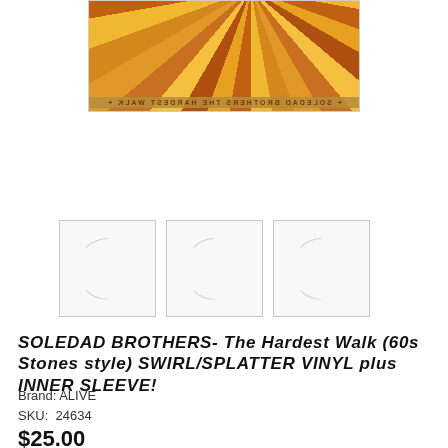[Figure (photo): Album cover for Soledad Brothers – The Hardest Walk, showing sunburst rays in yellow, orange, and brown tones with reversed text at the bottom reading SOLEDAD BROTHERS THE HARDEST WALK]
[Figure (photo): Three small thumbnail images, each showing a white square sleeve with a partial circular arc visible (vinyl record sleeve thumbnails)]
SOLEDAD BROTHERS- The Hardest Walk (60s Stones style) SWIRL/SPLATTER VINYL plus INNER SLEEVE!
Brand: ALIVE
SKU:  24634
$25.00